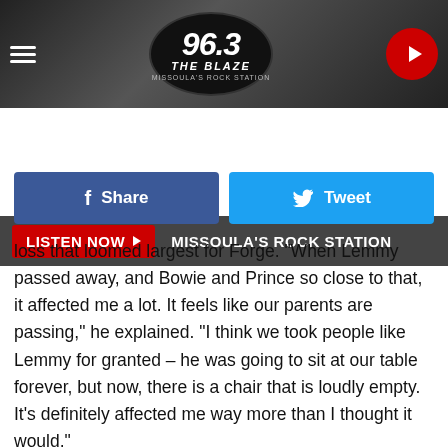[Figure (logo): 96.3 The Blaze - Missoula's Rock Station radio station logo with play button and menu icon in dark header bar]
LISTEN NOW ▶  MISSOULA'S ROCK STATION
[Figure (infographic): Facebook Share button (blue) and Twitter Tweet button (cyan) social sharing row]
loss that loomed largest for Forge. "When Lemmy passed away, and Bowie and Prince so close to that, it affected me a lot. It feels like our parents are passing," he explained. "I think we took people like Lemmy for granted – he was going to sit at our table forever, but now, there is a chair that is loudly empty. It's definitely affected me way more than I thought it would."
Those feelings may be felt thematically more than explicitly on the new album, which has been prefaced with the tongue-in-cheek introduction of Ghost's "new" frontman, Cardinal